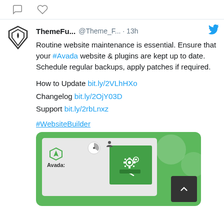[Figure (screenshot): Top bar with comment bubble and heart icons]
ThemeFu... @Theme_F... · 13h
Routine website maintenance is essential. Ensure that your #Avada website & plugins are kept up to date. Schedule regular backups, apply patches if required.

How to Update bit.ly/2VLhHXo
Changelog bit.ly/2OjY03D
Support bit.ly/2rbLnxz

#WebsiteBuilder
[Figure (illustration): Green card image showing Avada logo and gear/settings icons illustrating website maintenance]